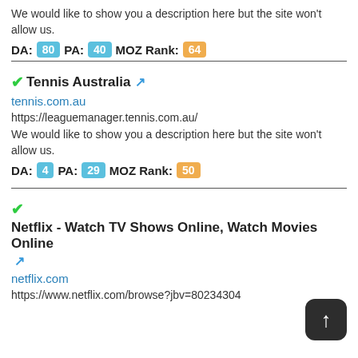We would like to show you a description here but the site won't allow us.
DA: 80  PA: 40  MOZ Rank: 64
Tennis Australia
tennis.com.au
https://leaguemanager.tennis.com.au/
We would like to show you a description here but the site won't allow us.
DA: 4  PA: 29  MOZ Rank: 50
Netflix - Watch TV Shows Online, Watch Movies Online
netflix.com
https://www.netflix.com/browse?jbv=80234304